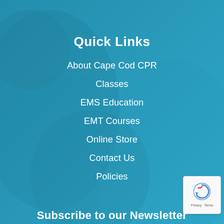Quick Links
About Cape Cod CPR
Classes
EMS Education
EMT Courses
Online Store
Contact Us
Policies
Subscribe to our Newsletter
[Figure (logo): reCAPTCHA badge with Privacy - Terms text]